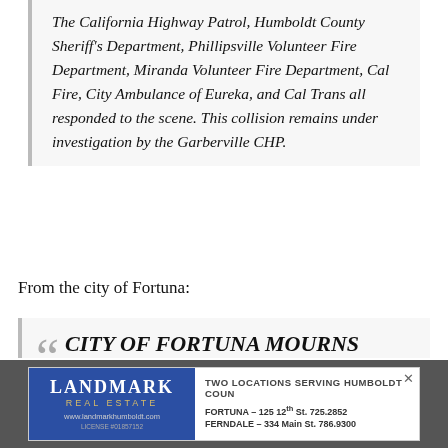The California Highway Patrol, Humboldt County Sheriff's Department, Phillipsville Volunteer Fire Department, Miranda Volunteer Fire Department, Cal Fire, City Ambulance of Eureka, and Cal Trans all responded to the scene. This collision remains under investigation by the Garberville CHP.
From the city of Fortuna:
CITY OF FORTUNA MOURNS LOSS OF LOCAL LEGENDS
[Figure (other): Landmark Real Estate advertisement. Two locations serving Humboldt County. Fortuna - 125 12th St. 725.2852. Ferndale - 334 Main St. 786.9300. Website: www.landmarkhumboldt.com. License #01857152.]